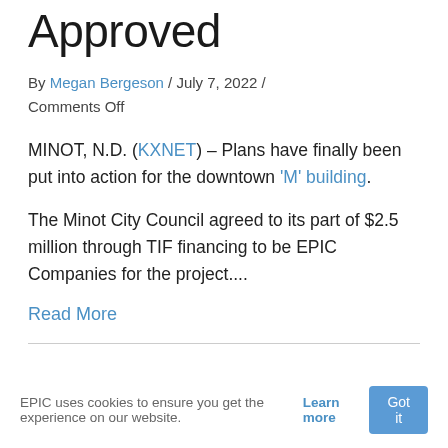Approved
By Megan Bergeson / July 7, 2022 / Comments Off
MINOT, N.D. (KXNET) – Plans have finally been put into action for the downtown 'M' building.
The Minot City Council agreed to its part of $2.5 million through TIF financing to be EPIC Companies for the project....
Read More
EPIC uses cookies to ensure you get the experience on our website. Learn more  Got it